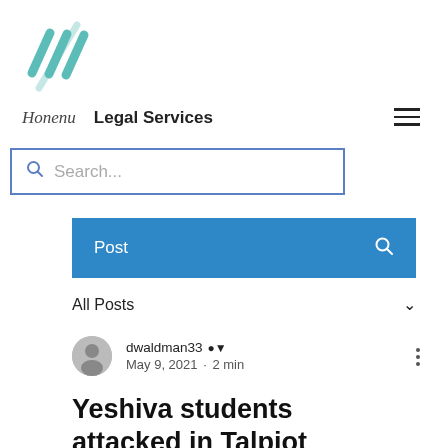[Figure (logo): Teal/green stylized checkmark lines logo]
Honenu   Legal Services
Search...
Post
All Posts
dwaldman33 Admin
May 9, 2021 · 2 min
Yeshiva students attacked in Talpiot